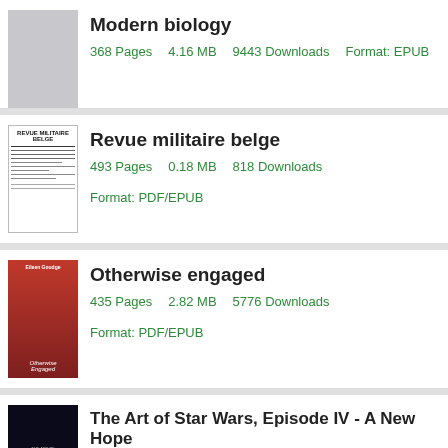Modern biology — 368 Pages, 4.16 MB, 9443 Downloads, Format: EPUB
Revue militaire belge — 493 Pages, 0.18 MB, 818 Downloads, Format: PDF/EPUB
Otherwise engaged — 435 Pages, 2.82 MB, 5776 Downloads, Format: PDF/EPUB
The Art of Star Wars, Episode IV - A New Hope — 358 Pages, 2.71 MB, 6084 Downloads, Format: PDF/EPUB